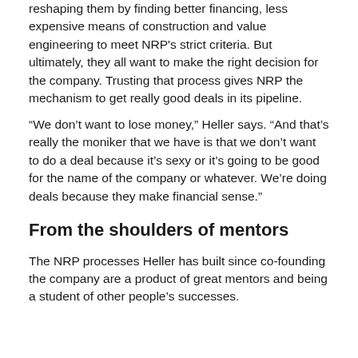reshaping them by finding better financing, less expensive means of construction and value engineering to meet NRP's strict criteria. But ultimately, they all want to make the right decision for the company. Trusting that process gives NRP the mechanism to get really good deals in its pipeline.
“We don’t want to lose money,” Heller says. “And that’s really the moniker that we have is that we don’t want to do a deal because it’s sexy or it’s going to be good for the name of the company or whatever. We’re doing deals because they make financial sense.”
From the shoulders of mentors
The NRP processes Heller has built since co-founding the company are a product of great mentors and being a student of other people’s successes.